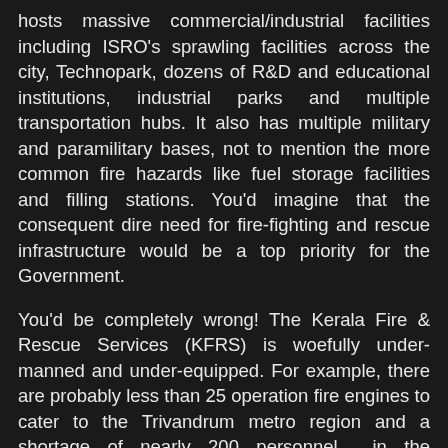hosts massive commercial/industrial facilities including ISRO's sprawling facilities across the city, Technopark, dozens of R&D and educational institutions, industrial parks and multiple transportation hubs. It also has multiple military and paramilitary bases, not to mention the more common fire hazards like fuel storage facilities and filling stations. You'd imagine that the consequent dire need for fire-fighting and rescue infrastructure would be a top priority for the Government.
You'd be completely wrong! The Kerala Fire & Rescue Services (KFRS) is woefully under-manned and under-equipped. For example, there are probably less than 25 operation fire engines to cater to the Trivandrum metro region and a shortage of nearly 200 personnel in the Trivandrum and Kollam districts alone. The city has just a single rescue tender which carries rescue equipment such as